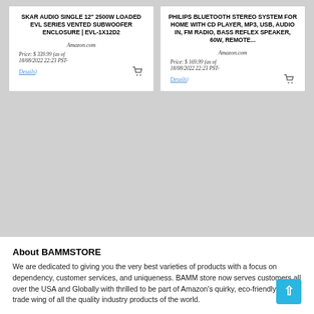SKAR AUDIO SINGLE 12" 2500W LOADED EVL SERIES VENTED SUBWOOFER ENCLOSURE | EVL-1X12D2
Amazon.com
Price: $ 339.99 (as of 18/08/2022 22:23 PST- Details)
PHILIPS BLUETOOTH STEREO SYSTEM FOR HOME WITH CD PLAYER, MP3, USB, AUDIO IN, FM RADIO, BASS REFLEX SPEAKER, 60W, REMOTE...
Amazon.com
Price: $ 169.99 (as of 18/08/2022 22:23 PST- Details)
About BAMMSTORE
We are dedicated to giving you the very best varieties of products with a focus on dependency, customer services, and uniqueness. BAMM store now serves customers all over the USA and Globally with thrilled to be part of Amazon's quirky, eco-friendly, fair-trade wing of all the quality industry products of the world.